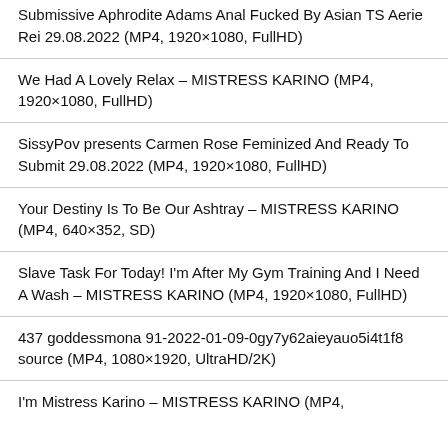Submissive Aphrodite Adams Anal Fucked By Asian TS Aerie Rei 29.08.2022 (MP4, 1920×1080, FullHD)
We Had A Lovely Relax – MISTRESS KARINO (MP4, 1920×1080, FullHD)
SissyPov presents Carmen Rose Feminized And Ready To Submit 29.08.2022 (MP4, 1920×1080, FullHD)
Your Destiny Is To Be Our Ashtray – MISTRESS KARINO (MP4, 640×352, SD)
Slave Task For Today! I'm After My Gym Training And I Need A Wash – MISTRESS KARINO (MP4, 1920×1080, FullHD)
437 goddessmona 91-2022-01-09-0gy7y62aieyauo5i4t1f8 source (MP4, 1080×1920, UltraHD/2K)
I'm Mistress Karino – MISTRESS KARINO (MP4,